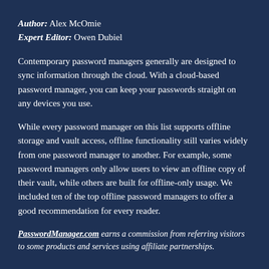Author: Alex McOmie
Expert Editor: Owen Dubiel
Contemporary password managers generally are designed to sync information through the cloud. With a cloud-based password manager, you can keep your passwords straight on any devices you use.
While every password manager on this list supports offline storage and vault access, offline functionality still varies widely from one password manager to another. For example, some password managers only allow users to view an offline copy of their vault, while others are built for offline-only usage. We included ten of the top offline password managers to offer a good recommendation for every reader.
PasswordManager.com earns a commission from referring visitors to some products and services using affiliate partnerships.